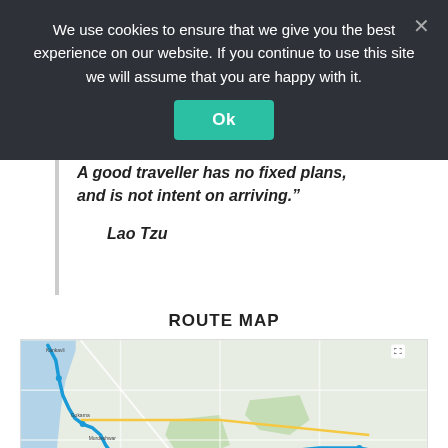We use cookies to ensure that we give you the best experience on our website. If you continue to use this site we will assume that you are happy with it.
Ok
A good traveller has no fixed plans, and is not intent on arriving."
Lao Tzu
ROUTE MAP
[Figure (map): A route map showing a travel route traced in blue along roads in what appears to be coastal India (Goa/Karnataka region). The route winds along the coastline and inland roads, shown on a Google Maps-style background.]